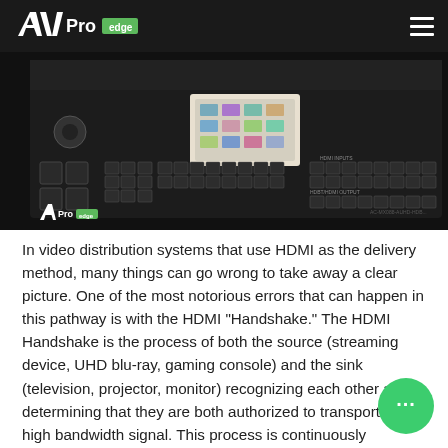AV Pro edge
[Figure (photo): AV Pro Edge matrix switcher hardware product photo showing front panel with buttons and LCD display on dark background]
In video distribution systems that use HDMI as the delivery method, many things can go wrong to take away a clear picture. One of the most notorious errors that can happen in this pathway is with the HDMI "Handshake." The HDMI Handshake is the process of both the source (streaming device, UHD blu-ray, gaming console) and the sink (television, projector, monitor) recognizing each other and determining that they are both authorized to transport the high bandwidth signal. This process is continuously repeated while the signal passes through the HDMI pathway.